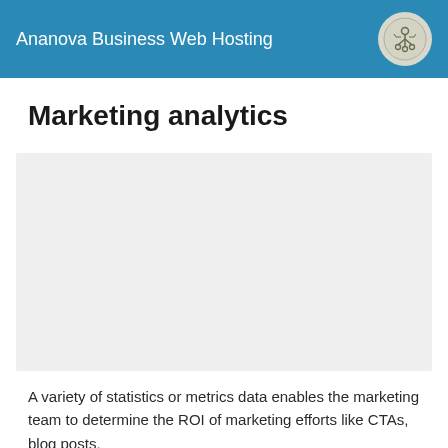Ananova Business Web Hosting
Marketing analytics
[Figure (other): Placeholder image area (light gray background, no visible content)]
A variety of statistics or metrics data enables the marketing team to determine the ROI of marketing efforts like CTAs, blog posts,